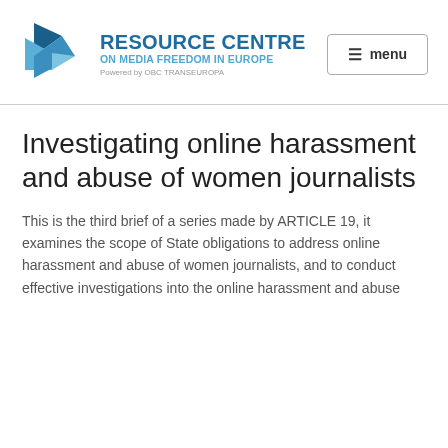[Figure (logo): Resource Centre on Media Freedom in Europe logo with blue geometric bird/arrow shape and text 'RESOURCE CENTRE ON MEDIA FREEDOM IN EUROPE Powered by OBC TRANSEUROPA']
Investigating online harassment and abuse of women journalists
This is the third brief of a series made by ARTICLE 19, it examines the scope of State obligations to address online harassment and abuse of women journalists, and to conduct effective investigations into the online harassment and abuse